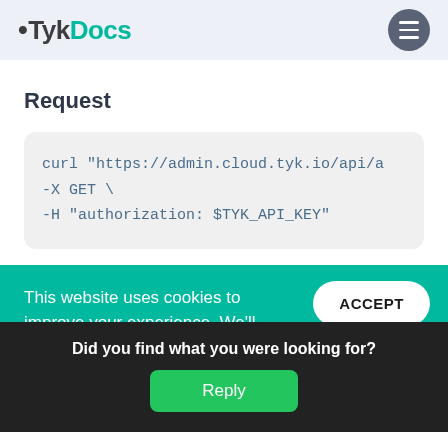TykDocs
Request
curl "https://admin.cloud.tyk.io/api/a
-X GET \
-H "authorization: $TYK_API_KEY"
This website uses cookies to improve your experience. We'll assume you're ok with this, but you can...
ACCEPT
RE
Did you find what you were looking for?
Reply